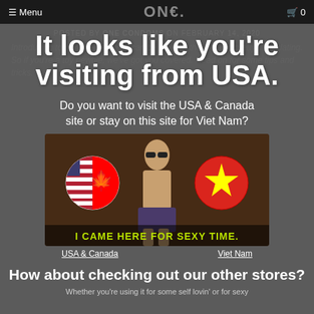≡ Menu   ONE.   🛒 0
POSTED BY ONE CONDOMS ON FEBRUARY 14, 2020
It looks like you're visiting from USA.
Introducing toys in the bedroom can be fun, but they're also pretty intimidating. So if you're a toy newbie, we've got you covered. Read on for some tips and tricks.
Do you want to visit the USA & Canada site or stay on this site for Viet Nam?
[Figure (illustration): Two circular flag buttons — left showing USA & Canada flag combination, right showing Vietnam flag — with a shirtless person in the center background. Text 'I CAME HERE FOR SEXY TIME.' at the bottom in yellow-green. Below buttons labeled 'USA & Canada' and 'Viet Nam'.]
How about checking out our other stores?
Whether you're using it for some self lovin' or for sexy